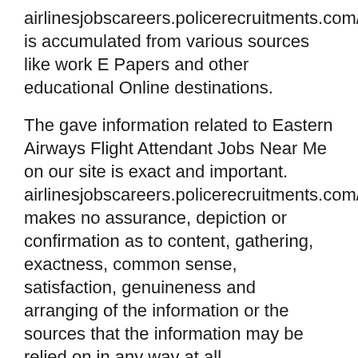airlinesjobscareers.policerecruitments.com/ is accumulated from various sources like work E Papers and other educational Online destinations.
The gave information related to Eastern Airways Flight Attendant Jobs Near Me on our site is exact and important. airlinesjobscareers.policerecruitments.com/ makes no assurance, depiction or confirmation as to content, gathering, exactness, common sense, satisfaction, genuineness and arranging of the information or the sources that the information may be relied on in any way at all. airlinesjobscareers.policerecruitments.com/ will not be at risk for any missteps or